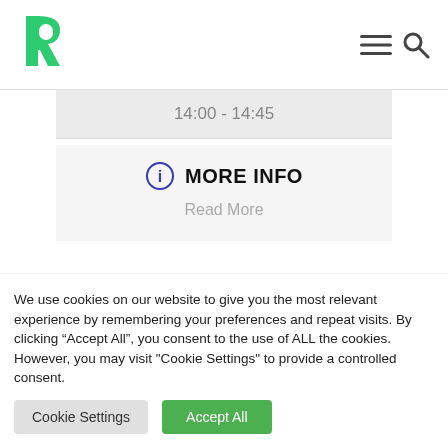[Figure (logo): Green stylized R logo]
| 14:00 - 14:45 |
| MORE INFO | Read More |
We use cookies on our website to give you the most relevant experience by remembering your preferences and repeat visits. By clicking “Accept All”, you consent to the use of ALL the cookies. However, you may visit "Cookie Settings" to provide a controlled consent.
Cookie Settings
Accept All